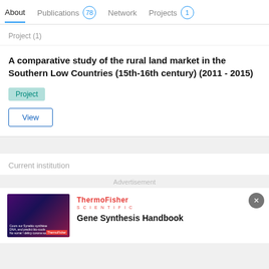About  Publications 78  Network  Projects 1
Project (1)
A comparative study of the rural land market in the Southern Low Countries (15th-16th century) (2011 - 2015)
Project
View
Current institution
Advertisement
[Figure (photo): ThermoFisher Scientific advertisement image showing researchers in a lab with purple/dark background]
Gene Synthesis Handbook